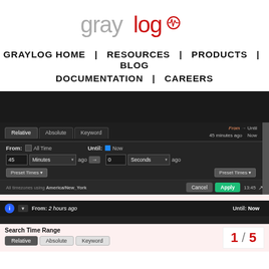[Figure (logo): Graylog logo - gray and red text with heartbeat icon]
GRAYLOG HOME   RESOURCES   PRODUCTS   BLOG
DOCUMENTATION   CAREERS
[Figure (screenshot): Screenshot of Graylog UI showing a time range picker with Relative/Absolute/Keyword tabs, From/Until fields set to 45 minutes ago and Now, with Cancel and Apply buttons, timezone shown as America/New_York]
[Figure (screenshot): Screenshot of Graylog search UI showing From: 2 hours ago / Until: Now bar, Search Time Range section with Relative, Absolute, Keyword tabs, and page counter 1/5]